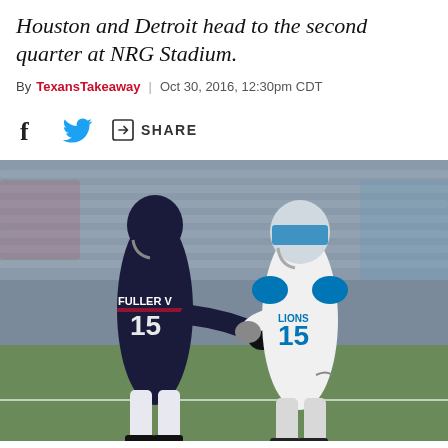Houston and Detroit head to the second quarter at NRG Stadium.
By TexansTakeaway | Oct 30, 2016, 12:30pm CDT
[Figure (other): Social sharing icons: Facebook, Twitter, and a share button]
[Figure (photo): Two NFL players wearing jersey number 15 — one in Houston Texans dark blue uniform (FULLER V, #15) and one in Detroit Lions white uniform (#15) — appear to exchange a handshake or greeting on the field at NRG Stadium before the game.]